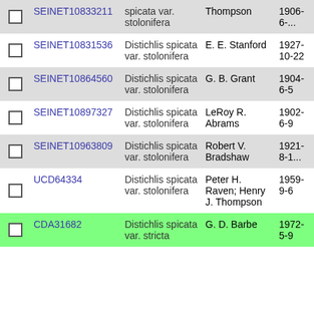|  | ID | Name | Collector | Date |
| --- | --- | --- | --- | --- |
| ☐ | SEINET10833211 | Distichlis spicata var. stolonifera | Thompson | 1906-6-... |
| ☐ | SEINET10831536 | Distichlis spicata var. stolonifera | E. E. Stanford | 1927-10-22 |
| ☐ | SEINET10864560 | Distichlis spicata var. stolonifera | G. B. Grant | 1904-6-5 |
| ☐ | SEINET10897327 | Distichlis spicata var. stolonifera | LeRoy R. Abrams | 1902-6-9 |
| ☐ | SEINET10963809 | Distichlis spicata var. stolonifera | Robert V. Bradshaw | 1921-8-1... |
| ☐ | UCD64334 | Distichlis spicata var. stolonifera | Peter H. Raven; Henry J. Thompson | 1959-9-6 |
| ☐ | CDA31682 | Distichlis spicata var. stricta | G. D. Barbe | 1972-5-9 |